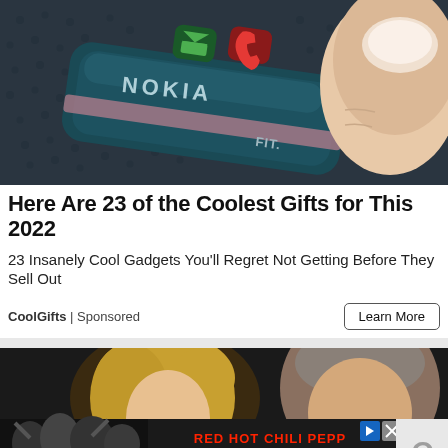[Figure (photo): Close-up photo of a Nokia fitness/smart device being held between fingers, showing green message icon and red phone icon buttons, dark teal body with 'NOKIA' and 'FIT.' text visible, on dark textured background]
Here Are 23 of the Coolest Gifts for This 2022
23 Insanely Cool Gadgets You'll Regret Not Getting Before They Sell Out
CoolGifts | Sponsored
[Figure (photo): Photo showing two people, a blonde woman on the left and a man on the right, likely a music-related article photo]
[Figure (infographic): Advertisement banner for Red Hot Chili Peppers, The Strokes and Thundercat concert/event, with black and white photo of band members on left, red text 'RED HOT CHILI PEPPERS', blue text 'THE STROKES', gray text 'AND THUNDERCAT', with play and close buttons]